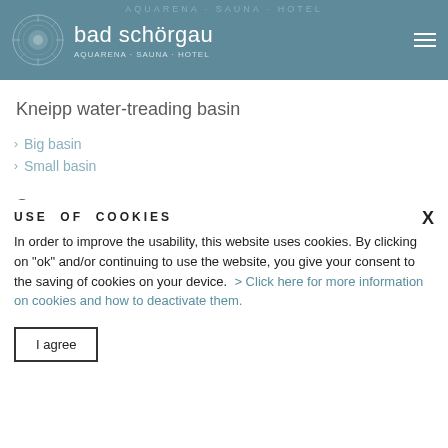bad schörgau
Kneipp water-treading basin
Big basin
Small basin
Saunas
USE OF COOKIES
In order to improve the usability, this website uses cookies. By clicking on "ok" and/or continuing to use the website, you give your consent to the saving of cookies on your device.  > Click here for more information on cookies and how to deactivate them.
I agree